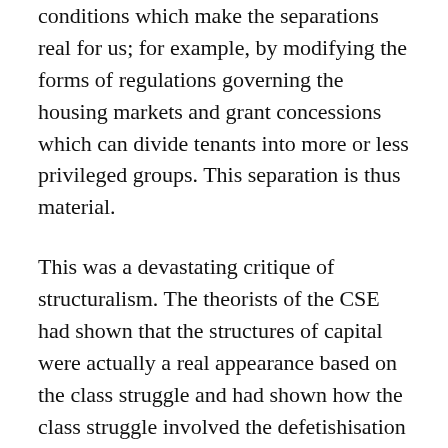conditions which make the separations real for us; for example, by modifying the forms of regulations governing the housing markets and grant concessions which can divide tenants into more or less privileged groups. This separation is thus material.
This was a devastating critique of structuralism. The theorists of the CSE had shown that the structures of capital were actually a real appearance based on the class struggle and had shown how the class struggle involved the defetishisation and refetishisation of such structures (economy, the law, etc.). In doing so they showed that the apparent objectivity of the ‘structures’ was a transient, historically defined, and continually challenged reality.
Crucially, Clarke also explained that the opposition of individual will or motivations and ‘structure’ is one-